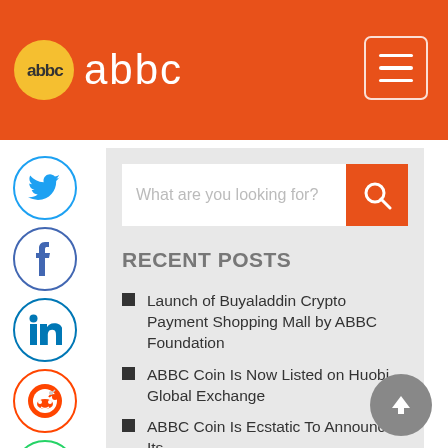ABBC Foundation logo header with hamburger menu
[Figure (screenshot): Orange header bar with ABBC Foundation logo (circle icon and text) on the left, and a hamburger menu icon (three horizontal lines in a rounded rectangle) on the right]
[Figure (infographic): Social media sidebar icons: Twitter (blue bird), Facebook (f), LinkedIn (in), Reddit (alien), WhatsApp (phone), Email (envelope), Print (printer) — all in circular bordered icons]
What are you looking for?
RECENT POSTS
Launch of Buyaladdin Crypto Payment Shopping Mall by ABBC Foundation
ABBC Coin Is Now Listed on Huobi Global Exchange
ABBC Coin Is Ecstatic To Announce Its